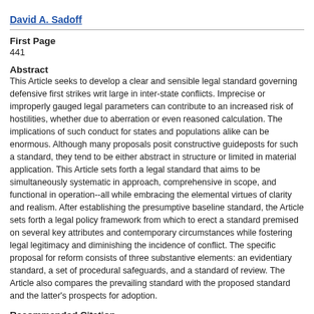David A. Sadoff
First Page
441
Abstract
This Article seeks to develop a clear and sensible legal standard governing defensive first strikes writ large in inter-state conflicts. Imprecise or improperly gauged legal parameters can contribute to an increased risk of hostilities, whether due to about or even reasoned calculation. The implications of such conduct for states and populations alike can be enormous. Although many proposals posit constructive guideposts for such a standard, they tend to be either abstract in structure or limited in material application. This Article sets forth a legal standard that aims to be simultaneously systematic in approach, comprehensive in scope, and functional in operation--all while embracing the elemental virtues of clarity and realism. After establishing the presumptive baseline standard, the Article sets forth a legal policy framework from which to erect a standard premised on several key attributes and contemporary circumstances while fostering legal legitimacy and diminishing the incidence of conflict. The specific proposal for reform consists of three substantive elements: an evidentiary standard, a set of procedural safeguards, and a standard of review. The Article also compares the prevailing standard with the proposed standard and discusses the latter's prospects for adoption.
Recommended Citation
David A. Sadoff, Striking a Sensible Balance on the Legality of Defensive First Strikes